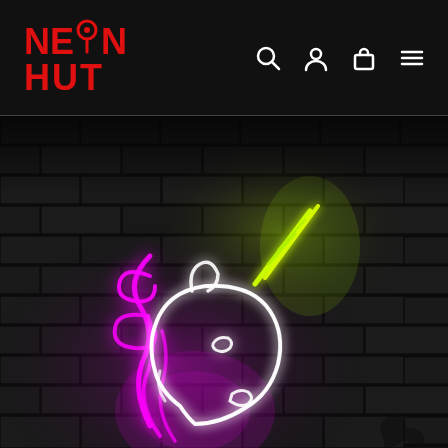[Figure (logo): Neon Hut logo in red with a location pin replacing the 'O' in NEON, bold red text on dark background]
[Figure (screenshot): Website screenshot of neonhut.com.au showing navigation header with search, user, cart, and menu icons on dark background, and a hero image of a neon unicorn sign on a dark brick wall with pink and white glowing neon tubes]